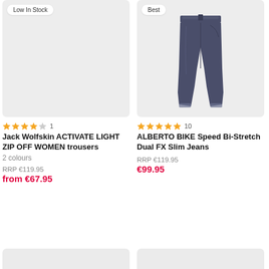[Figure (photo): Left product card image area with 'Low In Stock' badge, light grey background, no product visible]
[Figure (photo): Right product card showing dark navy/grey slim jeans (ALBERTO BIKE Speed Bi-Stretch Dual FX Slim Jeans) on white background with 'Best' badge]
★★★★☆ 1
Jack Wolfskin ACTIVATE LIGHT ZIP OFF WOMEN trousers
2 colours
RRP €119.95
from €67.95
★★★★★ 10
ALBERTO BIKE Speed Bi-Stretch Dual FX Slim Jeans
RRP €119.95
€99.95